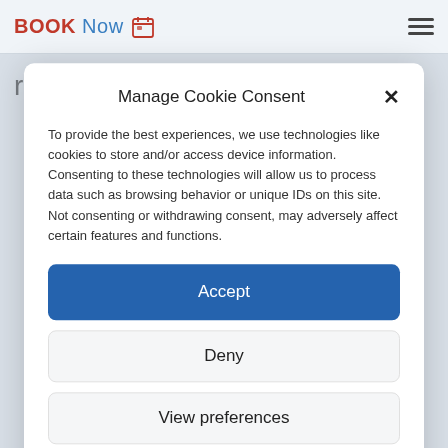BOOK Now [calendar icon] [hamburger menu]
romantic footpaths. Our tips:
Manage Cookie Consent
To provide the best experiences, we use technologies like cookies to store and/or access device information. Consenting to these technologies will allow us to process data such as browsing behavior or unique IDs on this site. Not consenting or withdrawing consent, may adversely affect certain features and functions.
Accept
Deny
View preferences
Privacy Statement  Impressum